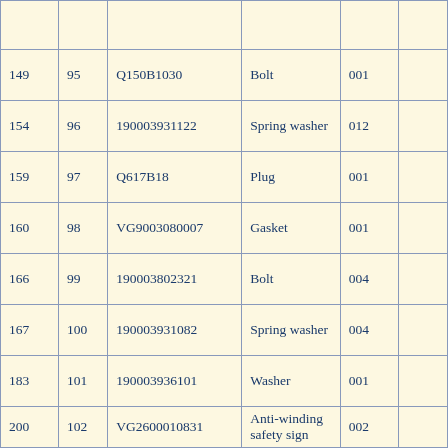| 149 | 95 | Q150B1030 | Bolt | 001 |  |
| 154 | 96 | 190003931122 | Spring washer | 012 |  |
| 159 | 97 | Q617B18 | Plug | 001 |  |
| 160 | 98 | VG9003080007 | Gasket | 001 |  |
| 166 | 99 | 190003802321 | Bolt | 004 |  |
| 167 | 100 | 190003931082 | Spring washer | 004 |  |
| 183 | 101 | 190003936101 | Washer | 001 |  |
| 200 | 102 | VG2600010831 | Anti-winding safety sign | 002 |  |